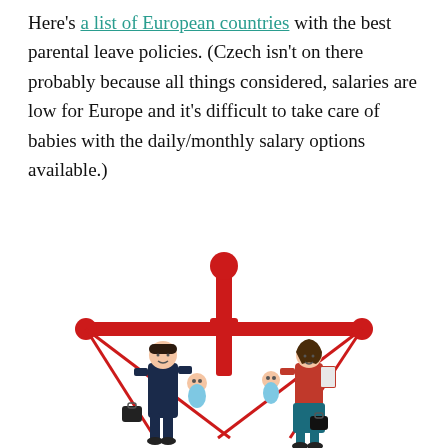Here's a list of European countries with the best parental leave policies. (Czech isn't on there probably because all things considered, salaries are low for Europe and it's difficult to take care of babies with the daily/monthly salary options available.)
[Figure (illustration): A balance scale illustration in red showing a man holding a baby on the left pan and a woman holding a baby on the right pan, symbolizing parental leave balance.]